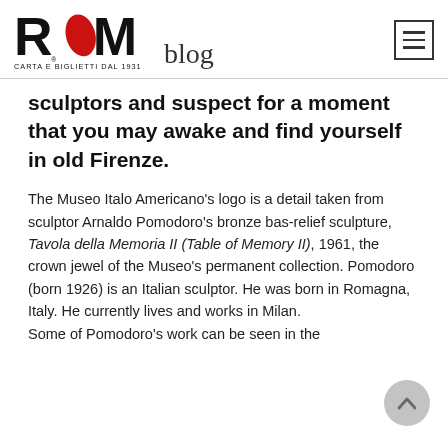Rossi blog — CARTA E BIGLIETTI DAL 1931
sculptors and suspect for a moment that you may awake and find yourself in old Firenze.
The Museo Italo Americano's logo is a detail taken from sculptor Arnaldo Pomodoro's bronze bas-relief sculpture, Tavola della Memoria II (Table of Memory II), 1961, the crown jewel of the Museo's permanent collection. Pomodoro (born 1926) is an Italian sculptor. He was born in Romagna, Italy. He currently lives and works in Milan. Some of Pomodoro's work can be seen in the